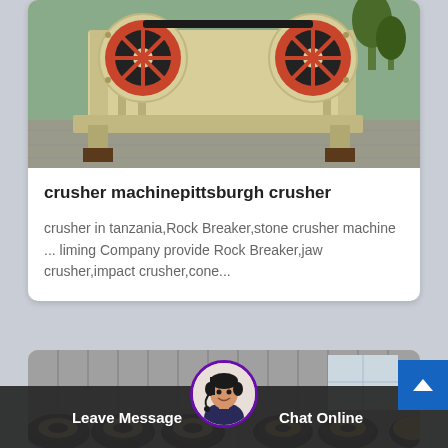[Figure (photo): Jaw crusher machine with yellow/cream body and red flywheel, photographed outdoors on concrete ground]
crusher machinepittsburgh crusher
crusher in tanzania,Rock Breaker,stone crusher machine ... liming Company provide Rock Breaker,jaw crusher,impact crusher,cone...
[Figure (photo): Partial view of industrial machinery with cylindrical components, black and white/gray tones]
Leave Message
[Figure (photo): Customer service representative avatar with headset]
Chat Online